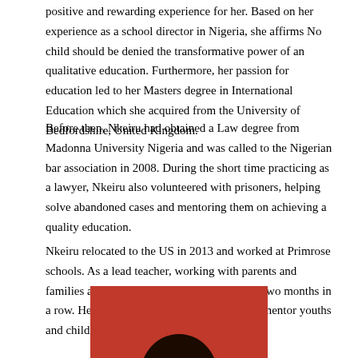positive and rewarding experience for her. Based on her experience as a school director in Nigeria, she affirms No child should be denied the transformative power of an qualitative education. Furthermore, her passion for education led to her Masters degree in International Education which she acquired from the University of Bedfordshire, United Kingdom.
Before then, Nkeiru had obtained a Law degree from Madonna University Nigeria and was called to the Nigerian bar association in 2008. During the short time practicing as a lawyer, Nkeiru also volunteered with prisoners, helping solve abandoned cases and mentoring them on achieving a quality education.
Nkeiru relocated to the US in 2013 and worked at Primrose schools. As a lead teacher, working with parents and families awarded her the apple of the eye for two months in a row. Her passion has always obliged her to mentor youths and children on continuing their education.
[Figure (photo): Photo of a person with dark hair against a red background, cropped showing top of head at bottom of page.]